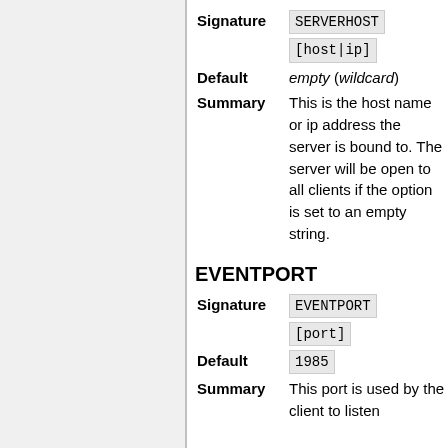| Label | Value |
| --- | --- |
| Signature | SERVERHOST [host|ip] |
| Default | empty (wildcard) |
| Summary | This is the host name or ip address the server is bound to. The server will be open to all clients if the option is set to an empty string. |
EVENTPORT
| Label | Value |
| --- | --- |
| Signature | EVENTPORT [port] |
| Default | 1985 |
| Summary | This port is used by the client to listen |